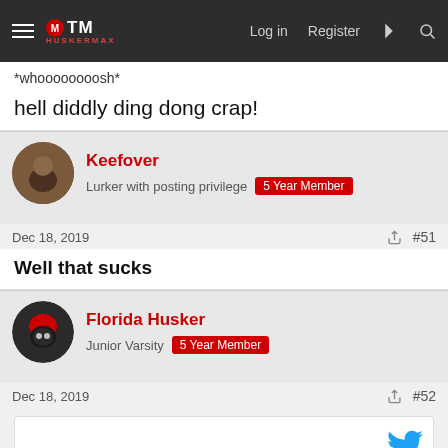HuskerMax — Log in | Register
*whoooooooosh*
hell diddly ding dong crap!
Keefover
Lurker with posting privilege | 5 Year Member
Dec 18, 2019  #51
Well that sucks
Florida Husker
Junior Varsity | 5 Year Member
Dec 18, 2019  #52
[Figure (screenshot): Embedded tweet/content box with Twitter bird logo in blue]